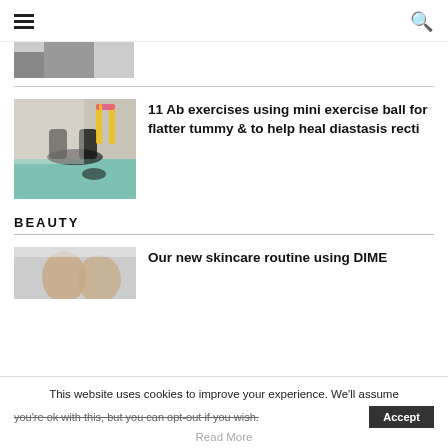Navigation header with hamburger menu and search icon
[Figure (photo): Partial image of a person exercising, cropped at top]
11 Ab exercises using mini exercise ball for flatter tummy & to help heal diastasis recti
[Figure (photo): Woman doing bridge exercise on yoga mat with mini exercise ball]
BEAUTY
[Figure (photo): Partial image of a person's face for beauty section]
Our new skincare routine using DIME
This website uses cookies to improve your experience. We'll assume you're ok with this, but you can opt-out if you wish.
Read More